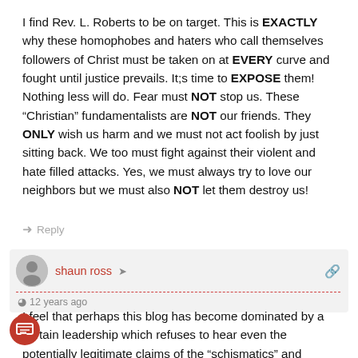I find Rev. L. Roberts to be on target. This is EXACTLY why these homophobes and haters who call themselves followers of Christ must be taken on at EVERY curve and fought until justice prevails. It;s time to EXPOSE them! Nothing less will do. Fear must NOT stop us. These “Christian” fundamentalists are NOT our friends. They ONLY wish us harm and we must not act foolish by just sitting back. We too must fight against their violent and hate filled attacks. Yes, we must always try to love our neighbors but we must also NOT let them destroy us!
➜ Reply
shaun ross
12 years ago
I feel that perhaps this blog has become dominated by a certain leadership which refuses to hear even the potentially legitimate claims of the “schismatics” and “defectors” and their “hate filled attacks.” As a former member of St. John’s Shaughnessy I must